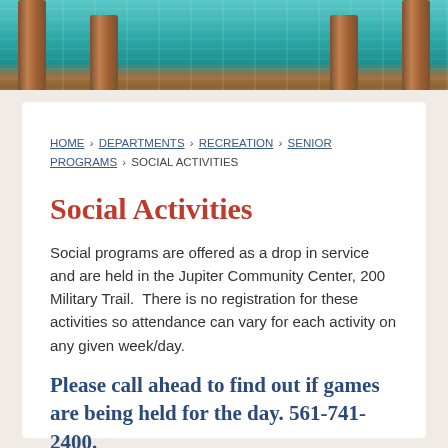[Figure (photo): Hero image of a tropical waterfront scene with turquoise water and wooden dock pillars]
HOME › DEPARTMENTS › RECREATION › SENIOR PROGRAMS › SOCIAL ACTIVITIES
Social Activities
Social programs are offered as a drop in service and are held in the Jupiter Community Center, 200 Military Trail.  There is no registration for these activities so attendance can vary for each activity on any given week/day.
Please call ahead to find out if games are being held for the day. 561-741-2400.
Drop In Social Activity Schedule: